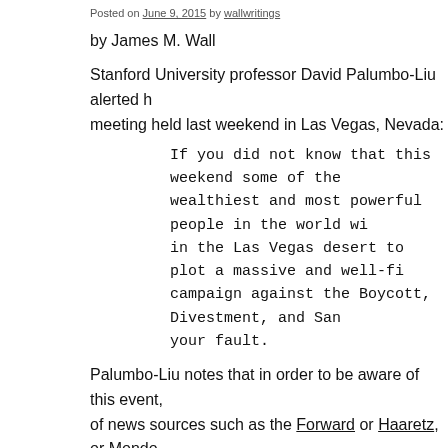Posted on June 9, 2015 by wallwritings
by James M. Wall
Stanford University professor David Palumbo-Liu alerted h... meeting held last weekend in Las Vegas, Nevada:
If you did not know that this weekend some of the wealthiest and most powerful people in the world wi... in the Las Vegas desert to plot a massive and well-fi... campaign against the Boycott, Divestment, and San... your fault.
Palumbo-Liu notes that in order to be aware of this event, ... of news sources such as the Forward or Haaretz, or Mondo...
Four days after the Salon posting appeared, The New York ... about the Vegas event inside a longer story which featured... in gaining anti-BDS support in state legislatures in South C... reading click here or on the headline above).